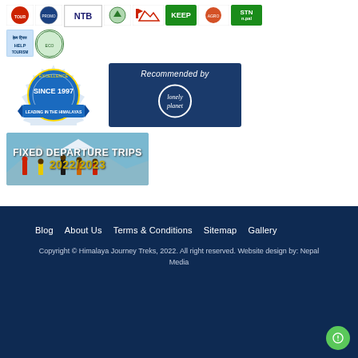[Figure (logo): Row of organization logos: tourism board logos, NTB, green arrow, mountain/flag logo, KEEP green logo, Agro logo, STN Nepal logo]
[Figure (logo): Second row of logos: Help Tourism logo, green circular organization logo]
[Figure (logo): Excellence Since 1997 Leading in the Himalayas badge (blue ribbon seal) and Recommended by Lonely Planet (dark blue banner with circle logo)]
[Figure (illustration): Fixed Departure Trips 2022/2023 banner with group of trekkers in mountains]
Blog   About Us   Terms & Conditions   Sitemap   Gallery
Copyright © Himalaya Journey Treks, 2022. All right reserved. Website design by: Nepal Media